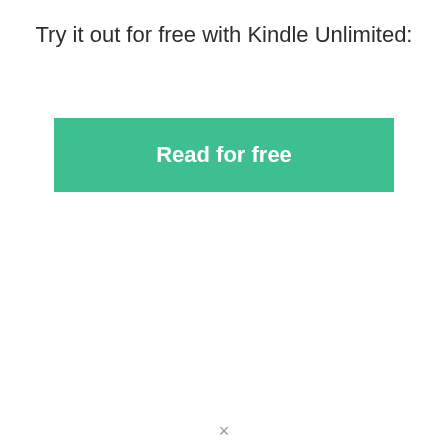Try it out for free with Kindle Unlimited:
[Figure (other): Green button labeled 'Read for free']
×